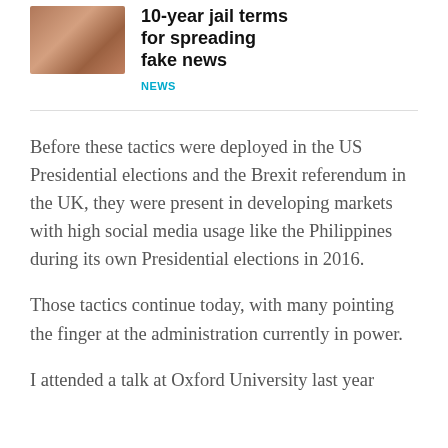[Figure (photo): Thumbnail photo showing a person, reddish-brown tones]
10-year jail terms for spreading fake news
NEWS
Before these tactics were deployed in the US Presidential elections and the Brexit referendum in the UK, they were present in developing markets with high social media usage like the Philippines during its own Presidential elections in 2016.
Those tactics continue today, with many pointing the finger at the administration currently in power.
I attended a talk at Oxford University last year